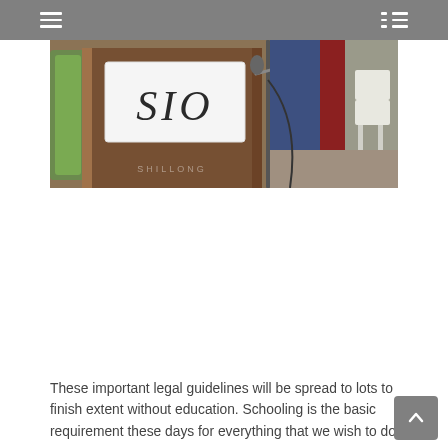≡  ≔
[Figure (photo): A wooden podium with a white sign reading 'SIO' in large italic letters. A microphone stand is visible to the right. In the background there are colorful drapes/banners and a white plastic chair.]
These important legal guidelines will be spread to lots to finish extent without education. Schooling is the basic requirement these days for everything that we wish to do